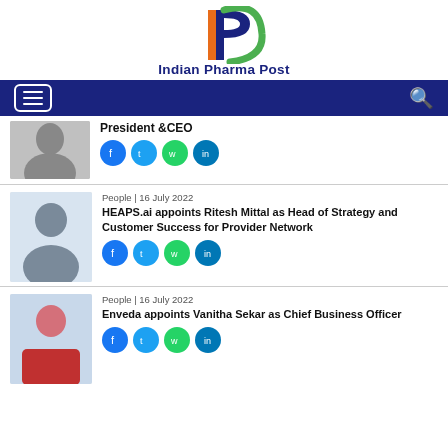[Figure (logo): Indian Pharma Post logo with IP letters in orange/green and blue text]
Navigation bar with hamburger menu and search icon
President &CEO
People | 16 July 2022
HEAPS.ai appoints Ritesh Mittal as Head of Strategy and Customer Success for Provider Network
People | 16 July 2022
Enveda appoints Vanitha Sekar as Chief Business Officer